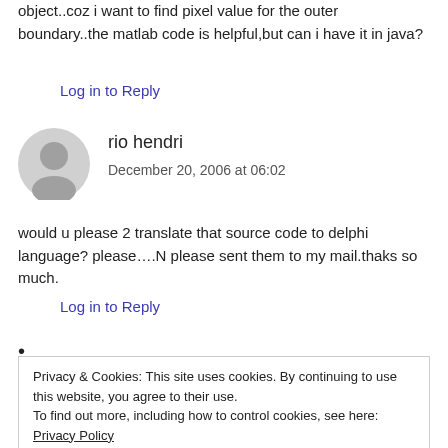object..coz i want to find pixel value for the outer boundary..the matlab code is helpful,but can i have it in java?
Log in to Reply
rio hendri
December 20, 2006 at 06:02
would u please 2 translate that source code to delphi language? please….N please sent them to my mail.thaks so much.
Log in to Reply
Privacy & Cookies: This site uses cookies. By continuing to use this website, you agree to their use.
To find out more, including how to control cookies, see here: Privacy Policy
Close and accept